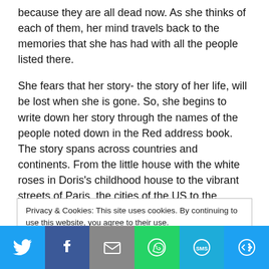because they are all dead now. As she thinks of each of them, her mind travels back to the memories that she has had with all the people listed there.
She fears that her story- the story of her life, will be lost when she is gone. So, she begins to write down her story through the names of the people noted down in the Red address book. The story spans across countries and continents. From the little house with the white roses in Doris's childhood house to the vibrant streets of Paris, the cities of the US to the countryside of England, it takes you on a journey.
I liked the concept of the book and it made me think about the many people we come across in our lives and how they often influence
Privacy & Cookies: This site uses cookies. By continuing to use this website, you agree to their use.
To find out more, including how to control cookies, see here: Cookie Policy
[Figure (other): Social share bar with Twitter, Facebook, Email, WhatsApp, SMS, and More buttons]